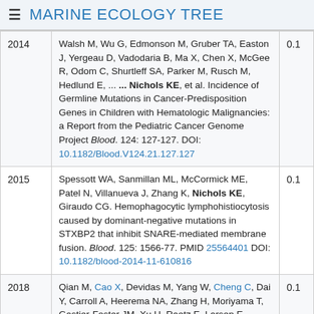≡ MARINE ECOLOGY TREE
| Year | Reference | Score |
| --- | --- | --- |
| 2014 | Walsh M, Wu G, Edmonson M, Gruber TA, Easton J, Yergeau D, Vadodaria B, Ma X, Chen X, McGee R, Odom C, Shurtleff SA, Parker M, Rusch M, Hedlund E, ... ... Nichols KE, et al. Incidence of Germline Mutations in Cancer-Predisposition Genes in Children with Hematologic Malignancies: a Report from the Pediatric Cancer Genome Project Blood. 124: 127-127. DOI: 10.1182/Blood.V124.21.127.127 | 0.1 |
| 2015 | Spessott WA, Sanmillan ML, McCormick ME, Patel N, Villanueva J, Zhang K, Nichols KE, Giraudo CG. Hemophagocytic lymphohistiocytosis caused by dominant-negative mutations in STXBP2 that inhibit SNARE-mediated membrane fusion. Blood. 125: 1566-77. PMID 25564401 DOI: 10.1182/blood-2014-11-610816 | 0.1 |
| 2018 | Qian M, Cao X, Devidas M, Yang W, Cheng C, Dai Y, Carroll A, Heerema NA, Zhang H, Moriyama T, Gastier-Foster JM, Xu H, Raetz E, Larsen E, Winck N, ... ... Nichols KE, et al. TP53 Germline Variations Influence... | 0.1 |